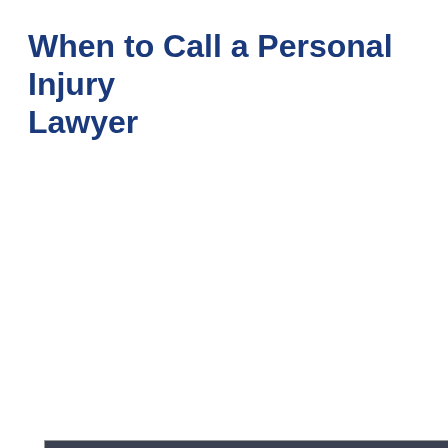When to Call a Personal Injury Lawyer
[Figure (screenshot): Video thumbnail/advertisement for a law firm. Shows a bald man in a suit with glasses. Text overlay reads 'Ask the Attorney... Personal Injury?' with scales of justice icon. A question box reads 'What type of injuries does BTM represent?' A reCAPTCHA badge is visible in the bottom-right. Brian law firm logo at bottom-left. An X close button at top-right.]